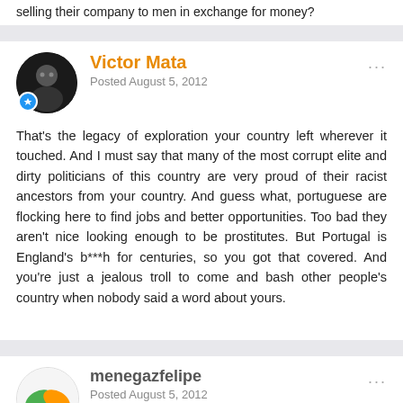selling their company to men in exchange for money?
Victor Mata
Posted August 5, 2012
That's the legacy of exploration your country left wherever it touched. And I must say that many of the most corrupt elite and dirty politicians of this country are very proud of their racist ancestors from your country. And guess what, portuguese are flocking here to find jobs and better opportunities. Too bad they aren't nice looking enough to be prostitutes. But Portugal is England's b***h for centuries, so you got that covered. And you're just a jealous troll to come and bash other people's country when nobody said a word about yours.
menegazfelipe
Posted August 5, 2012